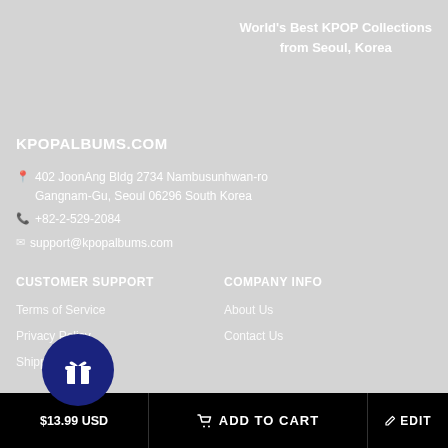World's Best KPOP Collections from Seoul, Korea
KPOPALBUMS.COM
402 JoonAng Bldg 2734 Nambusunhwan-ro Gangnam-Gu, Seoul 06296 South Korea
+82-2-529-2084
support@kpopalbums.com
CUSTOMER SUPPORT
COMPANY INFO
Terms of Service
Privacy Policy
Shipping Policy
About Us
Contact Us
$13.99 USD
ADD TO CART
EDIT